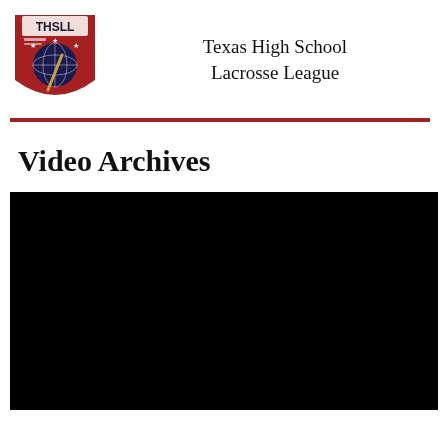[Figure (logo): THSLL shield logo in red, navy and white with lacrosse stick and globe imagery, text THSLL at top]
Texas High School Lacrosse League
Video Archives
[Figure (screenshot): Black video player embed area]